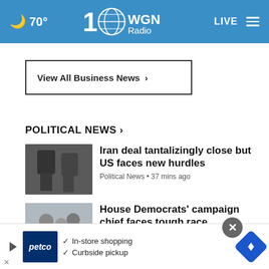70° WGN Radio LIVE
View All Business News ›
POLITICAL NEWS ›
[Figure (photo): Two men in dark suits, one on phone]
Iran deal tantalizingly close but US faces new hurdles
Political News • 37 mins ago
[Figure (photo): Crowd of people outdoors]
House Democrats' campaign chief faces tough race ...
Political News • 37 mins ago
[Figure (photo): Man in suit, blue background]
Judge blocks DeSantis's 'Stop WOKE Act,' says Florida ...
[Figure (photo): Elderly man, partial view]
Garland's death was 'facetious
[Figure (screenshot): Petco advertisement: In-store shopping, Curbside pickup]